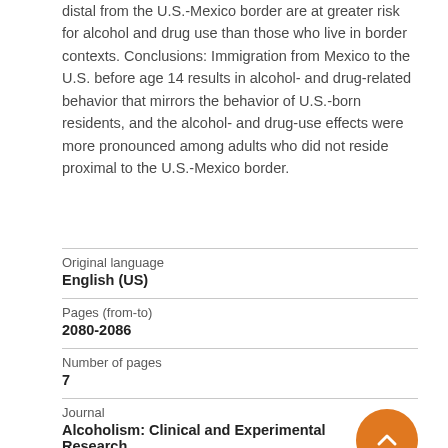distal from the U.S.-Mexico border are at greater risk for alcohol and drug use than those who live in border contexts. Conclusions: Immigration from Mexico to the U.S. before age 14 results in alcohol- and drug-related behavior that mirrors the behavior of U.S.-born residents, and the alcohol- and drug-use effects were more pronounced among adults who did not reside proximal to the U.S.-Mexico border.
Original language
English (US)
Pages (from-to)
2080-2086
Number of pages
7
Journal
Alcoholism: Clinical and Experimental Research
Volume